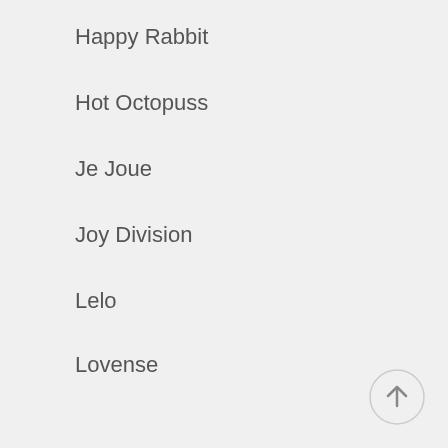Happy Rabbit
Hot Octopuss
Je Joue
Joy Division
Lelo
Lovense
Male Edge
Malesation
Medical
Minds Of Love
New